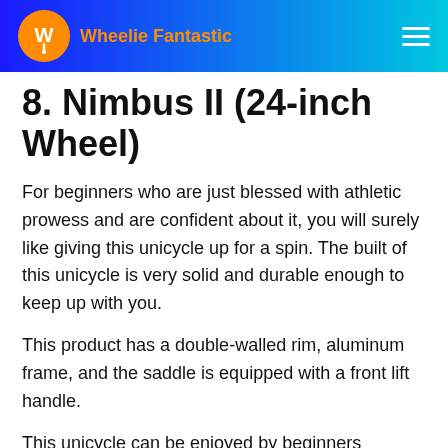Wheelie Fantastic
8. Nimbus II (24-inch Wheel)
For beginners who are just blessed with athletic prowess and are confident about it, you will surely like giving this unicycle up for a spin. The built of this unicycle is very solid and durable enough to keep up with you.
This product has a double-walled rim, aluminum frame, and the saddle is equipped with a front lift handle.
This unicycle can be enjoyed by beginners